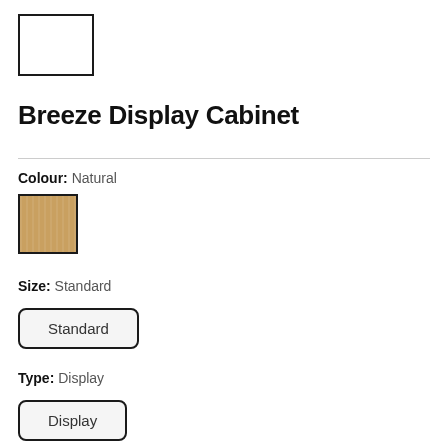[Figure (logo): Empty white rectangle with black border, used as logo placeholder]
Breeze Display Cabinet
Colour: Natural
[Figure (illustration): Natural wood colour swatch — warm tan/oak wood texture square with dark border]
Size: Standard
Standard
Type: Display
Display